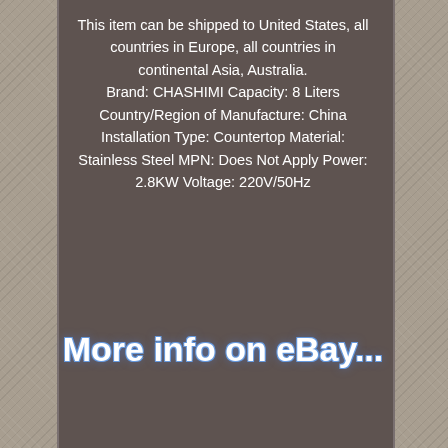This item can be shipped to United States, all countries in Europe, all countries in continental Asia, Australia. Brand: CHASHIMI Capacity: 8 Liters Country/Region of Manufacture: China Installation Type: Countertop Material: Stainless Steel MPN: Does Not Apply Power: 2.8KW Voltage: 220V/50Hz
More info on eBay...
Index
Links
Contact
Privacy Policies
Terms of service